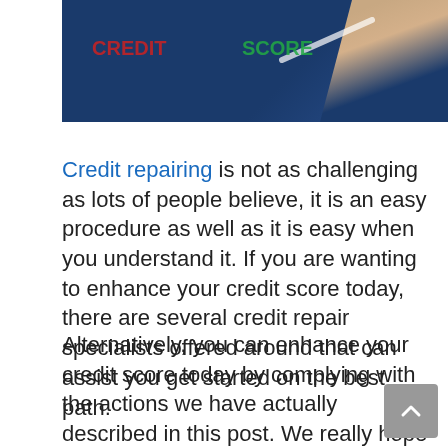[Figure (photo): Photo of a hand writing on a dark blue board with a white marker. Partial image showing the top portion of a credit-related document page.]
Credit repairing is not as challenging as lots of people believe, it is an easy procedure as well as it is easy when you understand it. If you are wanting to enhance your credit score today, there are several credit repair specialists offered around that can assist you get started on the best path.
Alternatively, you can enhance your credit score today by complying with the actions we have actually described in this post. We really hope that you discovered this information valuable and that you are now on your